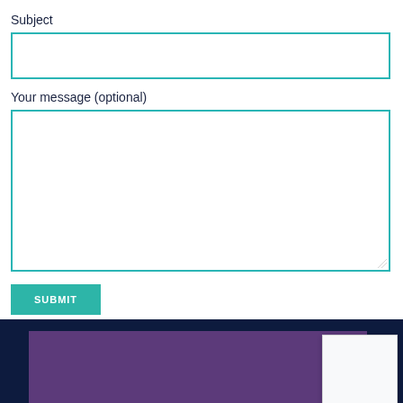Subject
Your message (optional)
SUBMIT
[Figure (logo): Peak logo with mountain/triangle symbol in white circle on purple background with PEAK text]
[Figure (other): Google reCAPTCHA widget showing refresh icon and Privacy - Terms text]